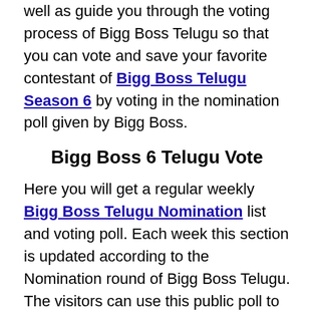well as guide you through the voting process of Bigg Boss Telugu so that you can vote and save your favorite contestant of Bigg Boss Telugu Season 6 by voting in the nomination poll given by Bigg Boss.
Bigg Boss 6 Telugu Vote
Here you will get a regular weekly Bigg Boss Telugu Nomination list and voting poll. Each week this section is updated according to the Nomination round of Bigg Boss Telugu. The visitors can use this public poll to predict what is going to happen in the final official result.
To add your vote in this public poll, simply tap on the contestant's picture that you want to add your vote for. It will then send you to the voting poll. There you just